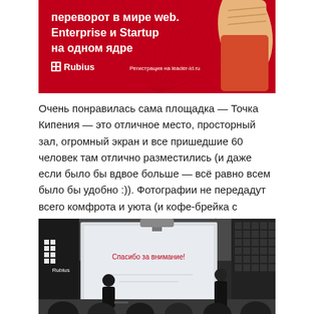[Figure (illustration): Red banner advertisement for Rubius showing text in Russian: 'переворот в мире web. Enterprise и Startup на одном ядре' with Rubius logo and 'Регистрация на leader-id.ru', with a raised fist illustration on the right.]
Очень понравилась сама площадка — Точка Кипения — это отличное место, просторный зал, огромный экран и все пришедшие 60 человек там отлично разместились (и даже если было бы вдвое больше — всё равно всем было бы удобно :)). Фотографии не передадут всего комфрота и уюта (и кофе-брейка с плюшками), но покажут, насколько было хорошо:
[Figure (photo): Photo of a conference room with a presenter standing next to a large projection screen showing 'Спасибо за внимание!', with an audience seated in front. The Rubius logo banner is visible on the left side.]